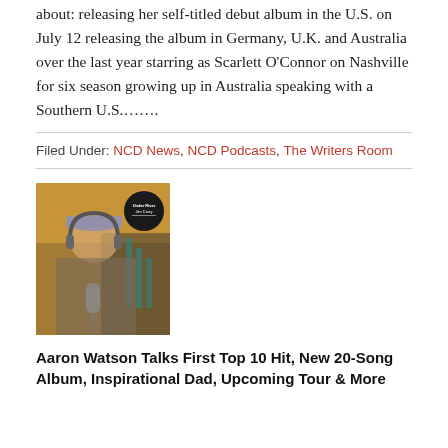about: releasing her self-titled debut album in the U.S. on July 12 releasing the album in Germany, U.K. and Australia over the last year starring as Scarlett O'Connor on Nashville for six season growing up in Australia speaking with a Southern U.S……...
Filed Under: NCD News, NCD Podcasts, The Writers Room
[Figure (photo): Photo of a man wearing headphones and a cap, sitting in front of a microphone in a podcast studio. A circular podcast logo is visible in the background.]
Aaron Watson Talks First Top 10 Hit, New 20-Song Album, Inspirational Dad, Upcoming Tour & More